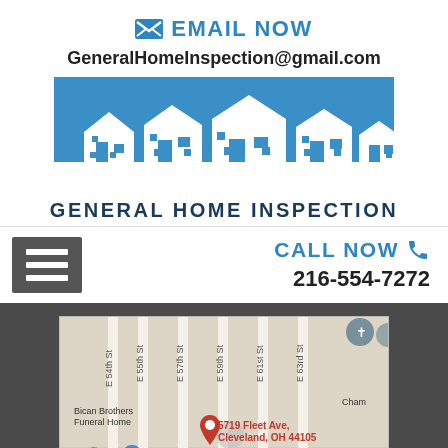EMAIL NOW
GeneralHomeInspection@gmail.com
[Figure (logo): General Home Inspection logo with silhouette of houses on blue background]
CALL NOW
216-554-7272
[Figure (map): Google Maps screenshot showing 5719 Fleet Ave, Cleveland, OH 44105 with nearby streets E 54th St, E 55th St, E 57th St, E 59th St, E 61st St, E 63rd St, Fullerton Ave, and Bican Brothers Funeral Home landmark. Red pin marks the address.]